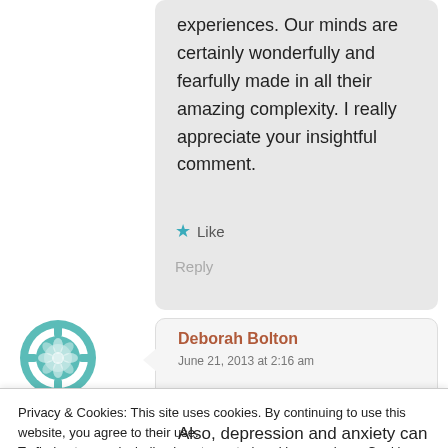experiences. Our minds are certainly wonderfully and fearfully made in all their amazing complexity. I really appreciate your insightful comment.
★ Like
Reply
[Figure (illustration): Teal geometric/mandala avatar icon for commenter Deborah Bolton]
Deborah Bolton
June 21, 2013 at 2:16 am
Privacy & Cookies: This site uses cookies. By continuing to use this website, you agree to their use.
To find out more, including how to control cookies, see here: Cookie Policy
Close and accept
Also, depression and anxiety can